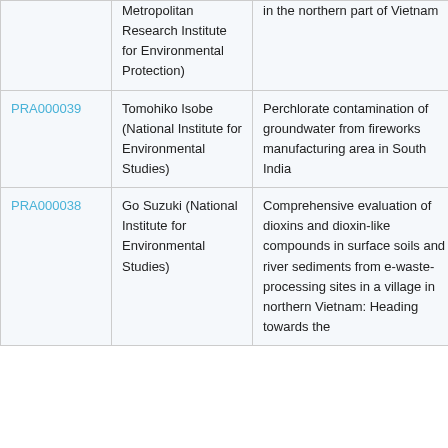| ID | Author | Title |  |
| --- | --- | --- | --- |
|  | Metropolitan Research Institute for Environmental Protection) | in the northern part of Vietnam |  |
| PRA000039 | Tomohiko Isobe (National Institute for Environmental Studies) | Perchlorate contamination of groundwater from fireworks manufacturing area in South India | Sa |
| PRA000038 | Go Suzuki (National Institute for Environmental Studies) | Comprehensive evaluation of dioxins and dioxin-like compounds in surface soils and river sediments from e-waste-processing sites in a village in northern Vietnam: Heading towards the | Sa |